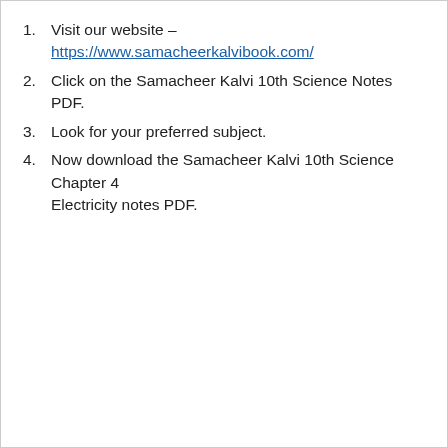1. Visit our website – https://www.samacheerkalvibook.com/
2. Click on the Samacheer Kalvi 10th Science Notes PDF.
3. Look for your preferred subject.
4. Now download the Samacheer Kalvi 10th Science Chapter 4 Electricity notes PDF.